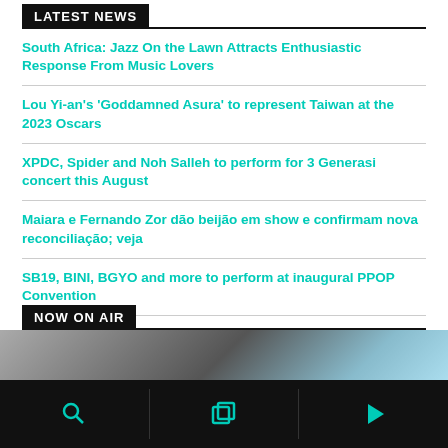LATEST NEWS
South Africa: Jazz On the Lawn Attracts Enthusiastic Response From Music Lovers
Lou Yi-an's 'Goddamned Asura' to represent Taiwan at the 2023 Oscars
XPDC, Spider and Noh Salleh to perform for 3 Generasi concert this August
Maiara e Fernando Zor dão beijão em show e confirmam nova reconciliação; veja
SB19, BINI, BGYO and more to perform at inaugural PPOP Convention
NOW ON AIR
[Figure (photo): Blurred photo preview of a person, partially visible at bottom of page]
Navigation bar with search, layers, and play icons